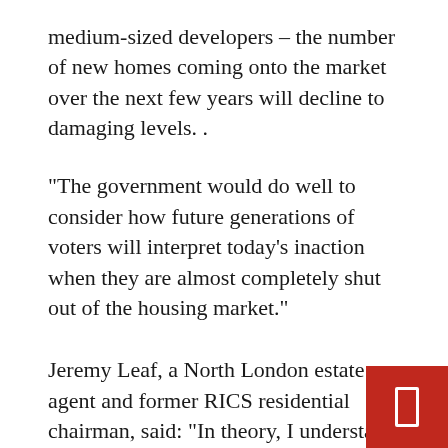medium-sized developers – the number of new homes coming onto the market over the next few years will decline to damaging levels. .
“The government would do well to consider how future generations of voters will interpret today’s inaction when they are almost completely shut out of the housing market.”
Jeremy Leaf, a North London estate agent and former RICS residential chairman, said: “In theory, I understand the logic behind the attempt to cut the benefits bill. But it relies on the fact that the p[rice] of real estate continues to rise quite rapidly, w[hich] is not comforting for those who are not on the scale